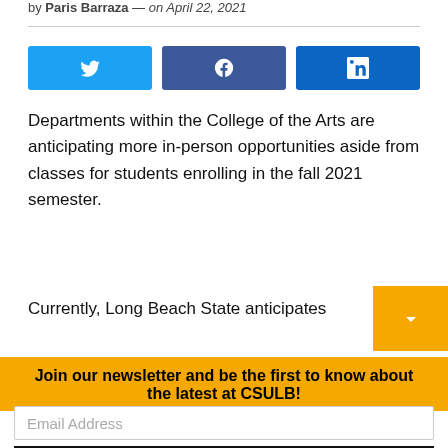by Paris Barraza — on April 22, 2021
[Figure (infographic): Social share buttons for Twitter, Facebook, and LinkedIn]
Departments within the College of the Arts are anticipating more in-person opportunities aside from classes for students enrolling in the fall 2021 semester.
Currently, Long Beach State anticipates
Join our newsletter and be the first to know about the latest at CSULB!
Email Address
Subscribe